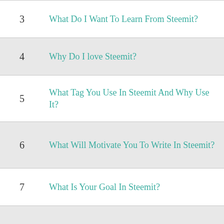| # | Question |
| --- | --- |
| 3 | What Do I Want To Learn From Steemit? |
| 4 | Why Do I love Steemit? |
| 5 | What Tag You Use In Steemit And Why Use It? |
| 6 | What Will Motivate You To Write In Steemit? |
| 7 | What Is Your Goal In Steemit? |
| 8 | How Do You Overcome Obstacles In Steemit? |
| 9 | If You Have A 1,000,000 SP(Steem Power) In Steemit, What Would You Do With It? |
| 10 | Where Do You See Yourself In Steemit Within Next 5 Years? |